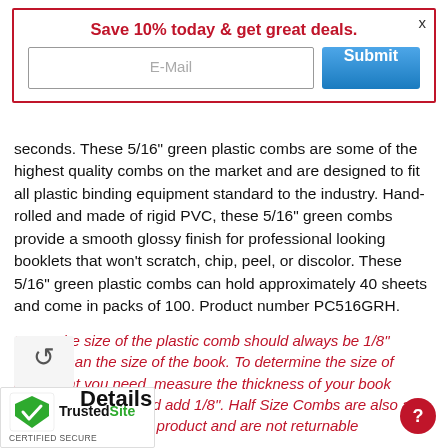Save 10% today & get great deals.
seconds. These 5/16" green plastic combs are some of the highest quality combs on the market and are designed to fit all plastic binding equipment standard to the industry. Hand-rolled and made of rigid PVC, these 5/16" green combs provide a smooth glossy finish for professional looking booklets that won't scratch, chip, peel, or discolor. These 5/16" green plastic combs can hold approximately 40 sheets and come in packs of 100. Product number PC516GRH.
Note: The size of the plastic comb should always be 1/8" thicker than the size of the book. To determine the size of comb that you need, measure the thickness of your book (including covers) and add 1/8". Half Size Combs are also also considered a custom product and are not returnable
Details
[Figure (logo): TrustedSite Certified Secure badge with green checkmark shield icon]
[Figure (other): Red circular help/question button]